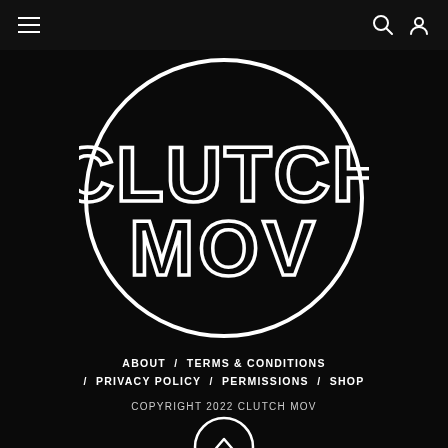Navigation header with hamburger menu, search icon, and user icon
[Figure (logo): Clutch MOV circular logo — white outline circle containing bold stylized text 'CLUTCH' on top and 'MOV' below, on black background]
ABOUT / TERMS & CONDITIONS / PRIVACY POLICY / PERMISSIONS / SHOP
COPYRIGHT 2022 CLUTCH MOV
[Figure (other): Circular back-to-top button with upward chevron arrow, white outline on black background]